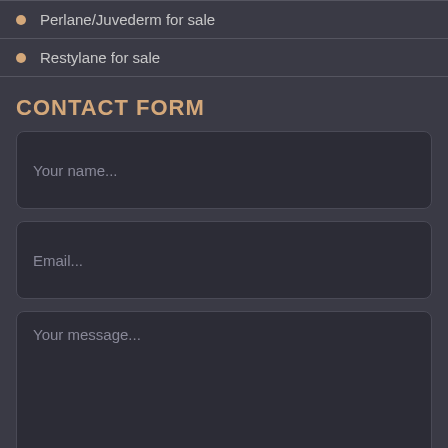Perlane/Juvederm for sale
Restylane for sale
CONTACT FORM
Your name...
Email...
Your message...
SEND